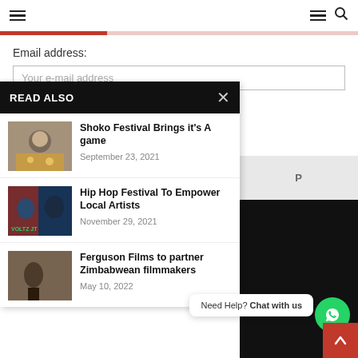Navigation bar with hamburger menus and search icon
Email address:
Your e-mail address
READ ALSO
Shoko Festival Brings it's A game
September 23, 2021
Hip Hop Festival To Empower Local Artists
November 29, 2021
Ferguson Films to partner Zimbabwean filmmakers
May 10, 2022
Need Help? Chat with us